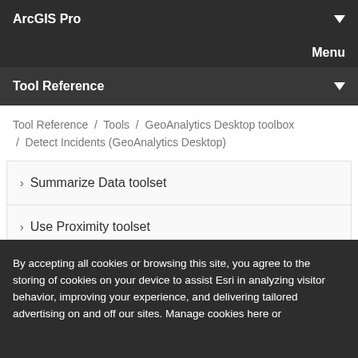ArcGIS Pro
Menu
Tool Reference
Tool Reference / Tools / GeoAnalytics Desktop toolbox / Detect Incidents (GeoAnalytics Desktop)
Summarize Data toolset
Use Proximity toolset
Utilities toolset
GeoAnalytics concepts
By accepting all cookies or browsing this site, you agree to the storing of cookies on your device to assist Esri in analyzing visitor behavior, improving your experience, and delivering tailored advertising on and off our sites. Manage cookies here or